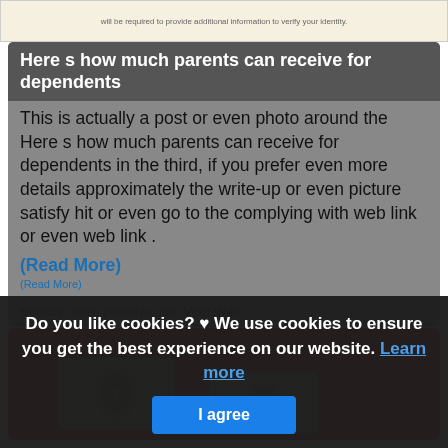[Figure (screenshot): Top strip showing partial screenshot text: 'will be required to provide additional information to verify your identity']
Here s how much parents can receive for dependents
This is actually a post or even photo around the Here s how much parents can receive for dependents in the third, if you prefer even more details approximately the write-up or even picture satisfy hit or even go to the complying with web link or even web link .
(Read More)
Source: www.pennlive.com Visit Web
[Figure (photo): Red background with two US dollar bills/money bills placed on it]
Do you like cookies? ♥ We use cookies to ensure you get the best experience on our website. Learn more I agree